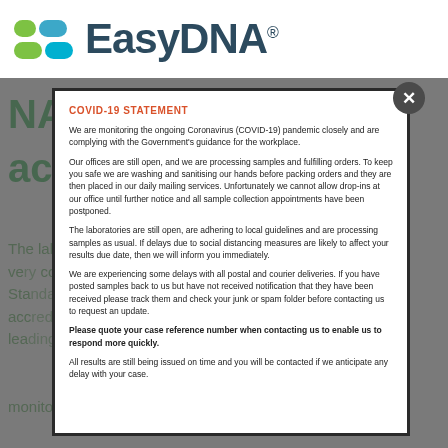[Figure (logo): EasyDNA logo with colored pill shapes and brand name in dark teal]
[Figure (illustration): Watermark background text reading NATA and ISO17025 accreditation in light green, and body text about ISO17025 accreditation in light green]
COVID-19 STATEMENT
We are monitoring the ongoing Coronavirus (COVID-19) pandemic closely and are complying with the Government's guidance for the workplace.
Our offices are still open, and we are processing samples and fulfilling orders. To keep you safe we are washing and sanitising our hands before packing orders and they are then placed in our daily mailing services. Unfortunately we cannot allow drop-ins at our office until further notice and all sample collection appointments have been postponed.
The laboratories are still open, are adhering to local guidelines and are processing samples as usual. If delays due to social distancing measures are likely to affect your results due date, then we will inform you immediately.
We are experiencing some delays with all postal and courier deliveries. If you have posted samples back to us but have not received notification that they have been received please track them and check your junk or spam folder before contacting us to request an update.
Please quote your case reference number when contacting us to enable us to respond more quickly.
All results are still being issued on time and you will be contacted if we anticipate any delay with your case.